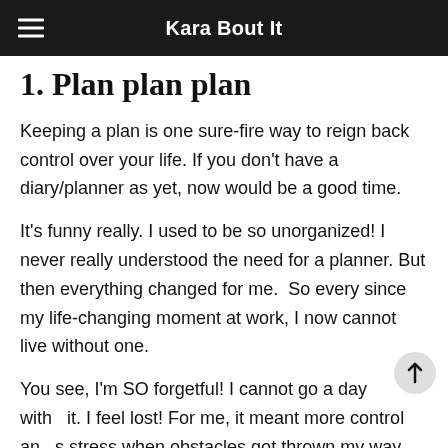Kara Bout It
1. Plan plan plan
Keeping a plan is one sure-fire way to reign back control over your life. If you don't have a diary/planner as yet, now would be a good time.
It's funny really. I used to be so unorganized! I never really understood the need for a planner. But then everything changed for me.  So every since my life-changing moment at work, I now cannot live without one.
You see, I'm SO forgetful! I cannot go a day without it. I feel lost! For me, it meant more control and less stress when obstacles got thrown my way.